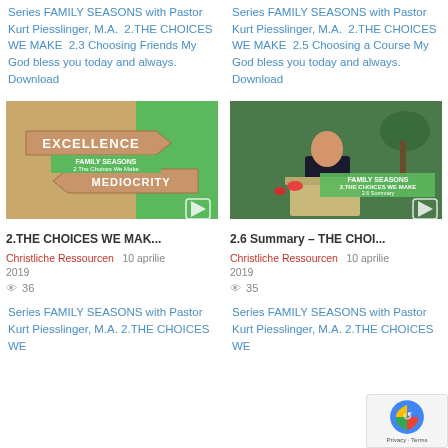Series FAMILY SEASONS with Pastor Kurt Piesslinger, M.A. 2.THE CHOICES WE MAKE 2.3 Choosing Friends My God bless you today and always. Download
Series FAMILY SEASONS with Pastor Kurt Piesslinger, M.A. 2.THE CHOICES WE MAKE 2.5 Choosing a Course My God bless you today and always. Download
[Figure (screenshot): Thumbnail showing road signs with EXCELLENCE and MEDIOCRITY, overlaid with Family Seasons 2.The Choices We Make green badge]
[Figure (screenshot): Thumbnail showing a pastor speaking at a podium with green background, overlaid with Family Seasons 2.THE CHOICES WE MAKE green badge]
2.THE CHOICES WE MAK...
2.6 Summary – THE CHOI...
Christliche Ressourcen  10 aprilie 2019  36 views
Christliche Ressourcen  10 aprilie 2019  35 views
Series FAMILY SEASONS with Pastor Kurt Piesslinger, M.A. 2.THE CHOICES WE
Series FAMILY SEASONS with Pastor Kurt Piesslinger, M.A. 2.THE CHOICES WE